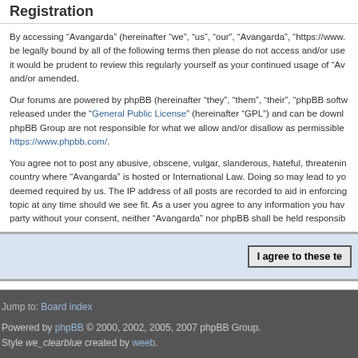Registration
By accessing “Avangarda” (hereinafter “we”, “us”, “our”, “Avangarda”, “https://www. be legally bound by all of the following terms then please do not access and/or use it would be prudent to review this regularly yourself as your continued usage of “Av and/or amended.
Our forums are powered by phpBB (hereinafter “they”, “them”, “their”, “phpBB softw released under the “General Public License” (hereinafter “GPL”) and can be downl phpBB Group are not responsible for what we allow and/or disallow as permissible https://www.phpbb.com/.
You agree not to post any abusive, obscene, vulgar, slanderous, hateful, threatenin country where “Avangarda” is hosted or International Law. Doing so may lead to yo deemed required by us. The IP address of all posts are recorded to aid in enforcing topic at any time should we see fit. As a user you agree to any information you hav party without your consent, neither “Avangarda” nor phpBB shall be held responsib
I agree to these te
Jump to: Board index
Powered by phpBB © 2000, 2002, 2005, 2007 phpBB Group.
Style we_clearblue created by weeb.